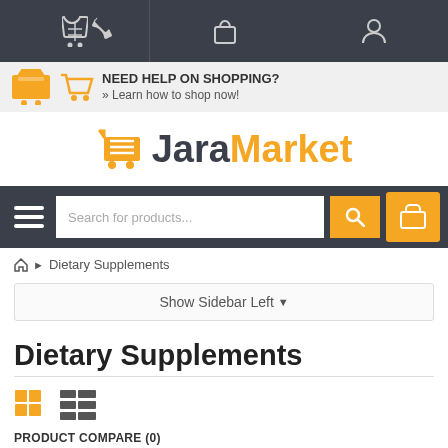Top navigation bar with phone, cart, and user icons
NEED HELP ON SHOPPING? » Learn how to shop now!
[Figure (logo): JaraMarket logo with orange shopping cart icon and text 'JaraMarket']
Search for products...
🏠 ▶ Dietary Supplements
Show Sidebar Left ▼
Dietary Supplements
[Figure (other): Grid and list view toggle icons]
PRODUCT COMPARE (0)